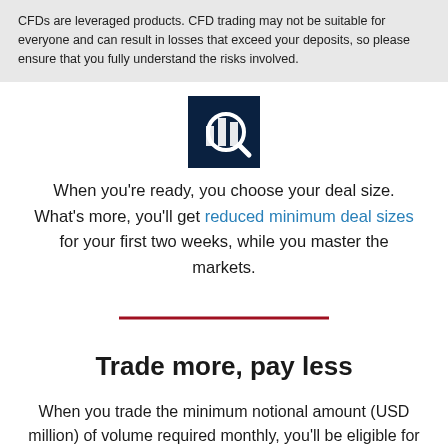CFDs are leveraged products. CFD trading may not be suitable for everyone and can result in losses that exceed your deposits, so please ensure that you fully understand the risks involved.
[Figure (illustration): Dark navy blue square icon containing a magnifying glass over a bar chart graphic in white]
When you're ready, you choose your deal size. What's more, you'll get reduced minimum deal sizes for your first two weeks, while you master the markets.
[Figure (other): A dark red horizontal divider line]
Trade more, pay less
When you trade the minimum notional amount (USD million) of volume required monthly, you'll be eligible for forex